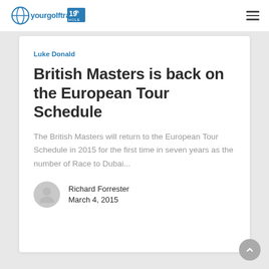yourgolftravel 19th HOLE
Luke Donald
British Masters is back on the European Tour Schedule
The British Masters will return to the European Tour Schedule in 2015 for the first time in seven years as the number of Race to Dubai...
Richard Forrester
March 4, 2015